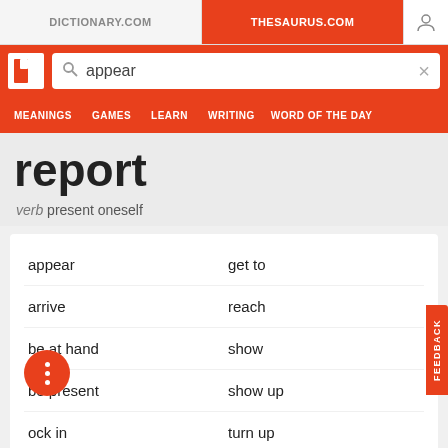DICTIONARY.COM | THESAURUS.COM
[Figure (screenshot): Thesaurus.com website header with search bar showing 'appear' and navigation menu with MEANINGS, GAMES, LEARN, WRITING, WORD OF THE DAY]
report
verb present oneself
appear
get to
arrive
reach
be at hand
show
be present
show up
ock in
turn up
come